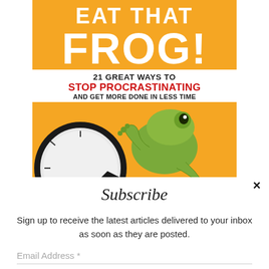[Figure (illustration): Book cover of 'Eat That Frog! 21 Great Ways to Stop Procrastinating and Get More Done in Less Time' showing a green frog on top of a clock against an orange background]
×
Subscribe
Sign up to receive the latest articles delivered to your inbox as soon as they are posted.
Email Address *